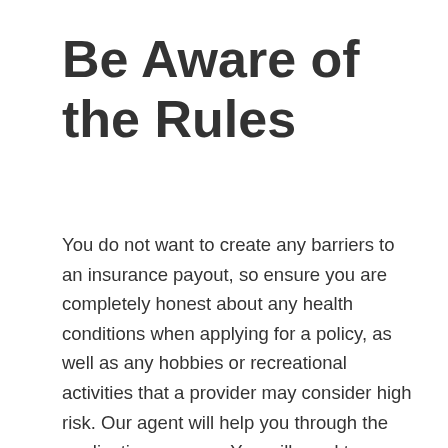Be Aware of the Rules
You do not want to create any barriers to an insurance payout, so ensure you are completely honest about any health conditions when applying for a policy, as well as any hobbies or recreational activities that a provider may consider high risk. Our agent will help you through the application process. You will need to undergo a basic medical exam, and we will arrange this for you. We work closely with our clients to ensure they purchase the best policies, from reputable providers, with the highest